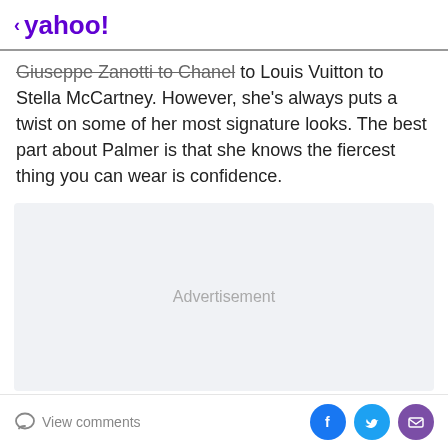< yahoo!
Giuseppe Zanotti to Chanel to Louis Vuitton to Stella McCartney. However, she's always puts a twist on some of her most signature looks. The best part about Palmer is that she knows the fiercest thing you can wear is confidence.
[Figure (other): Advertisement placeholder box with light gray background]
View comments